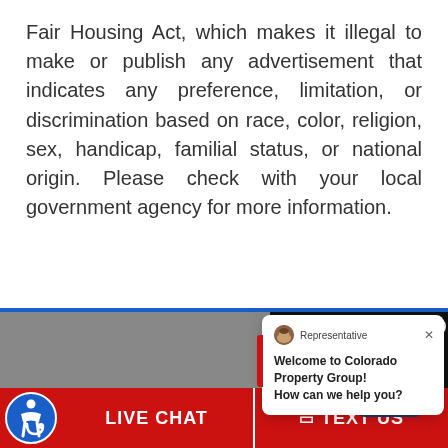Fair Housing Act, which makes it illegal to make or publish any advertisement that indicates any preference, limitation, or discrimination based on race, color, religion, sex, handicap, familial status, or national origin. Please check with your local government agency for more information.
[Figure (screenshot): Screenshot of Colorado Property Group website chat popup with 'Welcome to Colorado Property Group! How can we help you?' message, CPG logo, and online agent photo, plus Live Chat and Text Us buttons at the bottom.]